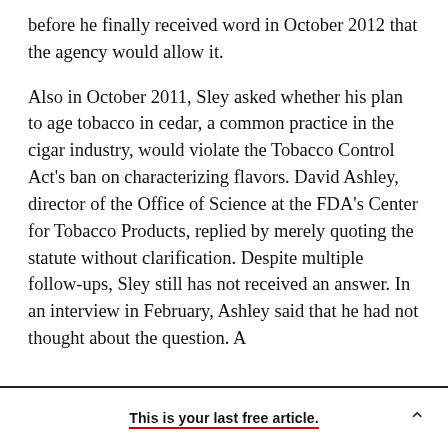before he finally received word in October 2012 that the agency would allow it.
Also in October 2011, Sley asked whether his plan to age tobacco in cedar, a common practice in the cigar industry, would violate the Tobacco Control Act's ban on characterizing flavors. David Ashley, director of the Office of Science at the FDA's Center for Tobacco Products, replied by merely quoting the statute without clarification. Despite multiple follow-ups, Sley still has not received an answer. In an interview in February, Ashley said that he had not thought about the question. A
This is your last free article.